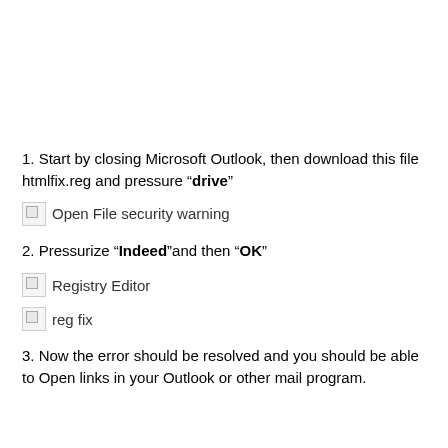1. Start by closing Microsoft Outlook, then download this file htmlfix.reg and pressure “drive”
[Figure (screenshot): Broken image placeholder labeled 'Open File security warning']
2. Pressurize “Indeed”and then “OK”
[Figure (screenshot): Broken image placeholder labeled 'Registry Editor']
[Figure (screenshot): Broken image placeholder labeled 'reg fix']
3. Now the error should be resolved and you should be able to Open links in your Outlook or other mail program.